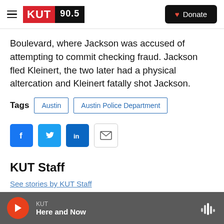KUT 90.5 | Donate
Boulevard, where Jackson was accused of attempting to commit checking fraud. Jackson fled Kleinert, the two later had a physical altercation and Kleinert fatally shot Jackson.
Tags  Austin  Austin Police Department
[Figure (infographic): Social sharing buttons: Facebook, Twitter, LinkedIn, Email]
KUT Staff
See stories by KUT Staff
KUT | Here and Now (audio player bar)